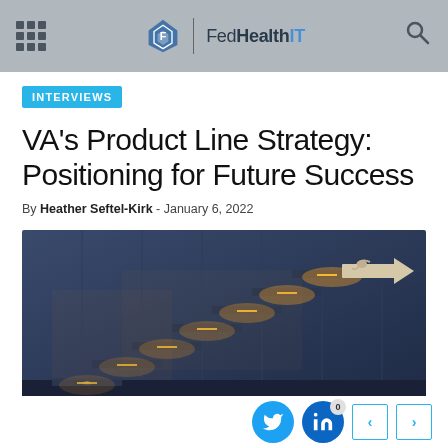FedHealthIT
INTERVIEWS
VA's Product Line Strategy: Positioning for Future Success
By Heather Seftel-Kirk - January 6, 2022
[Figure (photo): Illuminated modern floating staircase with glowing steps going upward, against a dark blue wall, with an arrow at the top pointing right]